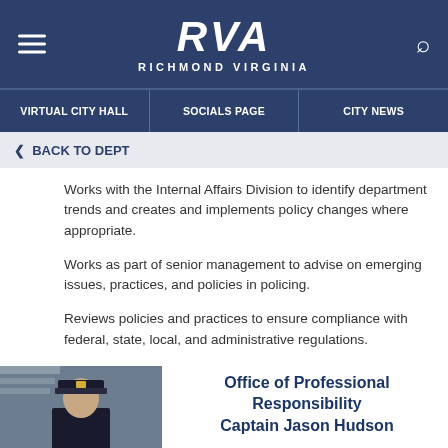[Figure (logo): RVA Richmond Virginia city logo in white on dark blue header]
VIRTUAL CITY HALL | SOCIALS PAGE | CITY NEWS
< BACK TO DEPT
Works with the Internal Affairs Division to identify department trends and creates and implements policy changes where appropriate.
Works as part of senior management to advise on emerging issues, practices, and policies in policing.
Reviews policies and practices to ensure compliance with federal, state, local, and administrative regulations.
[Figure (photo): Portrait photo of a police officer in uniform with American flag in background]
Office of Professional Responsibility Captain Jason Hudson